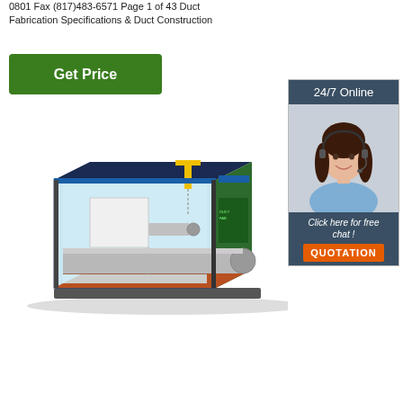0801 Fax (817)483-6571 Page 1 of 43 Duct Fabrication Specifications & Duct Construction
Get Price
[Figure (infographic): 24/7 Online customer service representative with headset, with 'Click here for free chat!' text and QUOTATION button]
[Figure (engineering-diagram): 3D CAD rendering of a duct fabrication unit / test chamber with transparent side walls showing internal components including cylindrical ducts, yellow lifting mechanism, blue structural elements, and green panels on a platform]